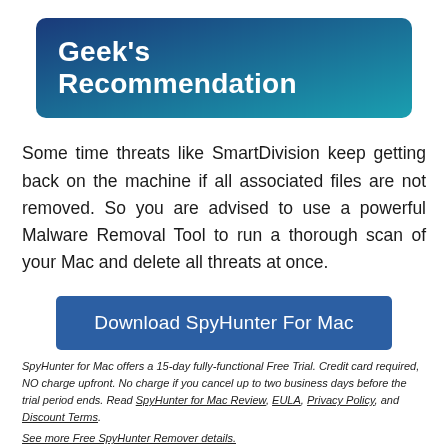Geek's Recommendation
Some time threats like SmartDivision keep getting back on the machine if all associated files are not removed. So you are advised to use a powerful Malware Removal Tool to run a thorough scan of your Mac and delete all threats at once.
[Figure (other): Download SpyHunter For Mac button (blue rounded rectangle)]
SpyHunter for Mac offers a 15-day fully-functional Free Trial. Credit card required, NO charge upfront. No charge if you cancel up to two business days before the trial period ends. Read SpyHunter for Mac Review, EULA, Privacy Policy, and Discount Terms.
See more Free SpyHunter Remover details.
Now go to the Download Folder from the Docs